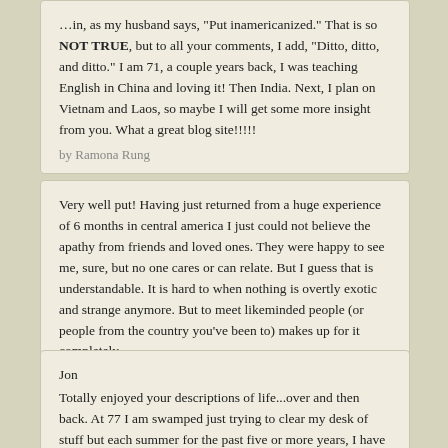That is so NOT TRUE, but to all your comments, I add, "Ditto, ditto, and ditto." I am 71, a couple years back, I was teaching English in China and loving it! Then India. Next, I plan on Vietnam and Laos, so maybe I will get some more insight from you. What a great blog site!!!!!
by Ramona Rung
Very well put! Having just returned from a huge experience of 6 months in central america I just could not believe the apathy from friends and loved ones. They were happy to see me, sure, but no one cares or can relate. But I guess that is understandable. It is hard to when nothing is overtly exotic and strange anymore. But to meet likeminded people (or people from the country you've been to) makes up for it completely
by Ben
Jon
Totally enjoyed your descriptions of life...over and then back. At 77 I am swamped just trying to clear my desk of stuff but each summer for the past five or more years, I have taught a class..eLearning International Issues, for the University of Texas at Brownsville, hosted by the Texas Telecourse Network.